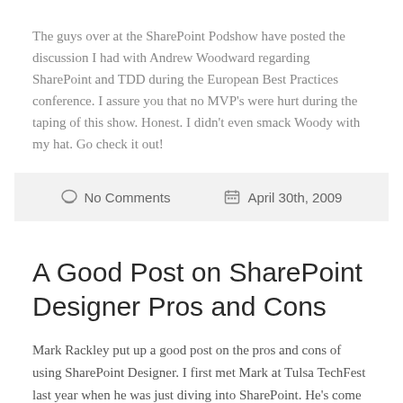The guys over at the SharePoint Podshow have posted the discussion I had with Andrew Woodward regarding SharePoint and TDD during the European Best Practices conference. I assure you that no MVP's were hurt during the taping of this show. Honest. I didn't even smack Woody with my hat. Go check it out!
No Comments   April 30th, 2009
A Good Post on SharePoint Designer Pros and Cons
Mark Rackley put up a good post on the pros and cons of using SharePoint Designer. I first met Mark at Tulsa TechFest last year when he was just diving into SharePoint. He's come